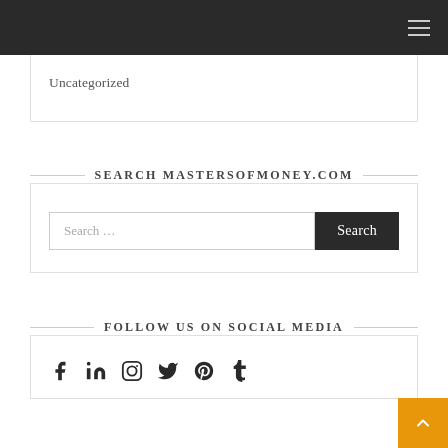Uncategorized
SEARCH MASTERSOFMONEY.COM
Search ...
FOLLOW US ON SOCIAL MEDIA
[Figure (other): Social media icons: Facebook, LinkedIn, Instagram, Twitter, Pinterest, Tumblr]